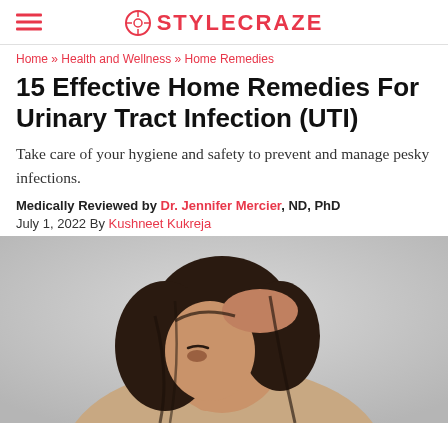STYLECRAZE
Home » Health and Wellness » Home Remedies
15 Effective Home Remedies For Urinary Tract Infection (UTI)
Take care of your hygiene and safety to prevent and manage pesky infections.
Medically Reviewed by Dr. Jennifer Mercier, ND, PhD
July 1, 2022 By Kushneet Kukreja
[Figure (photo): Woman with dark wavy hair holding her head with one hand against a light gray background, appearing stressed or in discomfort.]